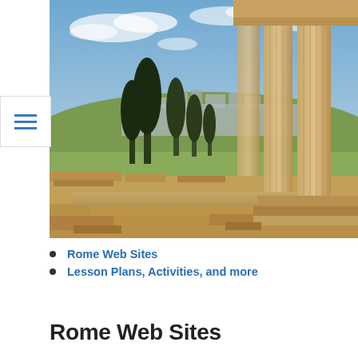[Figure (photo): Photograph of ancient Greek/Roman temple ruins with tall stone columns on the right side, cypress trees and a city skyline visible in the background under a partly cloudy blue sky. Stone pathway and ruins in the foreground.]
Rome Web Sites
Lesson Plans, Activities, and more
Rome Web Sites